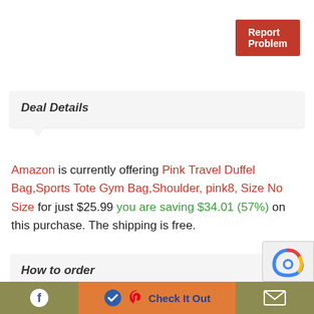Report Problem
Deal Details
Amazon is currently offering Pink Travel Duffel Bag,Sports Tote Gym Bag,Shoulder, pink8, Size No Size for just $25.99 you are saving $34.01 (57%) on this purchase. The shipping is free.
How to order